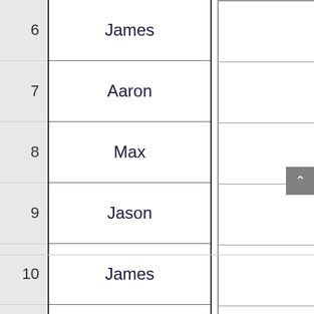| # | Name |  |
| --- | --- | --- |
| 6 | James |  |
| 7 | Aaron |  |
| 8 | Max |  |
| 9 | Jason |  |
| 10 | James |  |
| 11 | Robert |  |
| 12 | Stacy |  |
| 13 | Max |  |